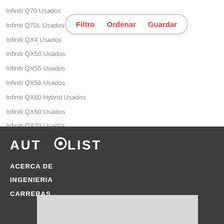Infiniti Q70 Usados
Infiniti Q70L Usados
Infiniti QX4 Usados
Infiniti QX50 Usados
Infiniti QX55 Usados
Infiniti QX56 Usados
Infiniti QX60 Hybrid Usados
Infiniti QX60 Usados
Infiniti QX70 Usados
Infiniti QX80 Usados
[Figure (logo): Autolist logo in white text on dark background]
ACERCA DE
INGENIERIA
CARRERAS